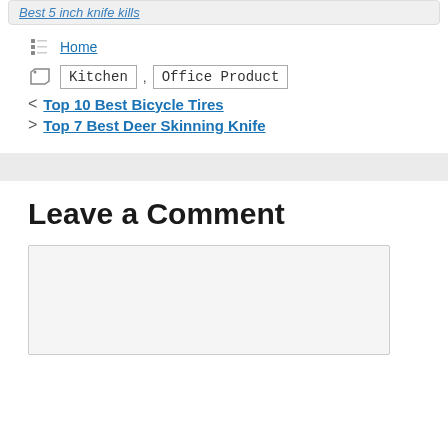Best 5 inch knife kills
Home
Kitchen , Office Product
< Top 10 Best Bicycle Tires
> Top 7 Best Deer Skinning Knife
Leave a Comment